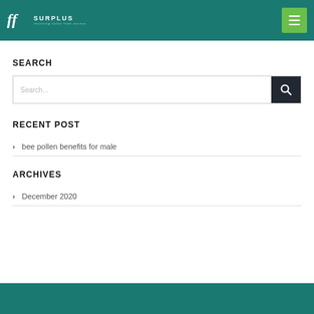FF Surplus - realising value from excess
SEARCH
Search...
RECENT POST
bee pollen benefits for male
ARCHIVES
December 2020